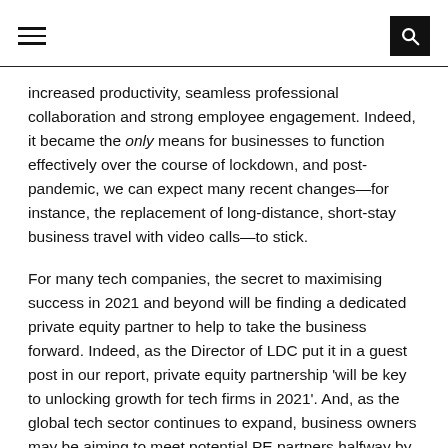[hamburger menu icon] [search icon]
increased productivity, seamless professional collaboration and strong employee engagement. Indeed, it became the only means for businesses to function effectively over the course of lockdown, and post-pandemic, we can expect many recent changes—for instance, the replacement of long-distance, short-stay business travel with video calls—to stick.
For many tech companies, the secret to maximising success in 2021 and beyond will be finding a dedicated private equity partner to help to take the business forward. Indeed, as the Director of LDC put it in a guest post in our report, private equity partnership 'will be key to unlocking growth for tech firms in 2021'. And, as the global tech sector continues to expand, business owners may be aiming to meet potential PE partners halfway by making themselves available. Where in the past, the most desirable tech companies wished to remain independent from private equity, the events of last year have force many of them to be open to PE investment. Private